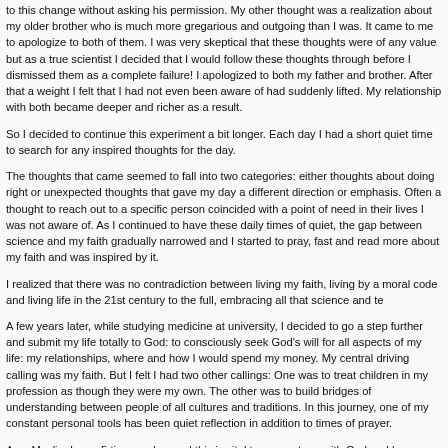to this change without asking his permission. My other thought was a realization about my older brother who is much more gregarious and outgoing than I was. It came to me to apologize to both of them. I was very skeptical that these thoughts were of any value but as a true scientist I decided that I would follow these thoughts through before I dismissed them as a complete failure! I apologized to both my father and brother. After that a weight I felt that I had not even been aware of had suddenly lifted. My relationship with both became deeper and richer as a result.
So I decided to continue this experiment a bit longer. Each day I had a short quiet time to search for any inspired thoughts for the day.
The thoughts that came seemed to fall into two categories: either thoughts about doing right or unexpected thoughts that gave my day a different direction or emphasis. Often a thought to reach out to a specific person coincided with a point of need in their lives I was not aware of. As I continued to have these daily times of quiet, the gap between science and my faith gradually narrowed and I started to pray, fast and read more about my faith and was inspired by it.
I realized that there was no contradiction between living my faith, living by a moral code and living life in the 21st century to the full, embracing all that science and te
A few years later, while studying medicine at university, I decided to go a step further and submit my life totally to God: to consciously seek God's will for all aspects of my life: my relationships, where and how I would spend my money. My central driving calling was my faith. But I felt I had two other callings: One was to treat children in my profession as though they were my own. The other was to build bridges of understanding between people of all cultures and traditions. In this journey, one of my constant personal tools has been quiet reflection in addition to times of prayer.
As a Muslim I pray 5 times a day, and this is vital to connect me with God and keep focus on my heart. But I personally find I still get additional benefit from a separate quiet